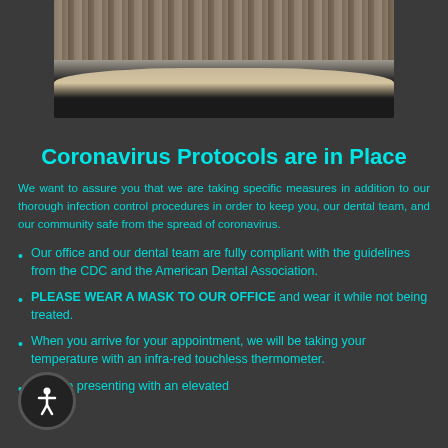[Figure (photo): Interior photo of a dental office reception desk with stone wall backdrop and curved white/black counter]
Coronavirus Protocols are in Place
We want to assure you that we are taking specific measures in addition to our thorough infection control procedures in order to keep you, our dental team, and our community safe from the spread of coronavirus.
Our office and our dental team are fully compliant with the guidelines from the CDC and the American Dental Association.
PLEASE WEAR A MASK TO OUR OFFICE and wear it while not being treated.
When you arrive for your appointment, we will be taking your temperature with an infra-red touchless thermometer.
Anyone presenting with an elevated temperature (over 100 F) will not be